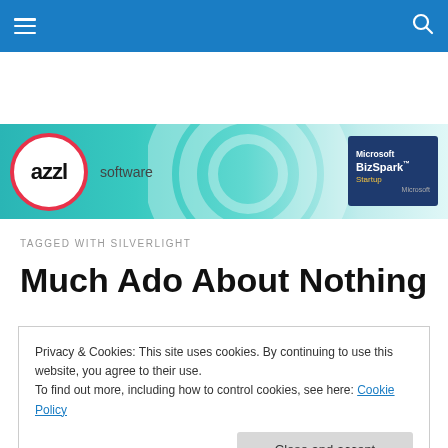Navigation bar with hamburger menu and search icon
[Figure (logo): azzl software logo with Microsoft BizSpark badge on teal banner background]
TAGGED WITH SILVERLIGHT
Much Ado About Nothing
Privacy & Cookies: This site uses cookies. By continuing to use this website, you agree to their use.
To find out more, including how to control cookies, see here: Cookie Policy